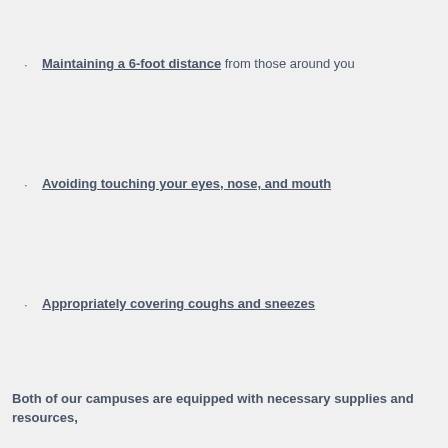Maintaining a 6-foot distance from those around you
Avoiding touching your eyes, nose, and mouth
Appropriately covering coughs and sneezes
Both of our campuses are equipped with necessary supplies and resources,